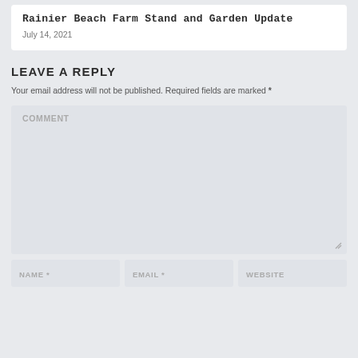Rainier Beach Farm Stand and Garden Update
July 14, 2021
LEAVE A REPLY
Your email address will not be published. Required fields are marked *
COMMENT
NAME *
EMAIL *
WEBSITE